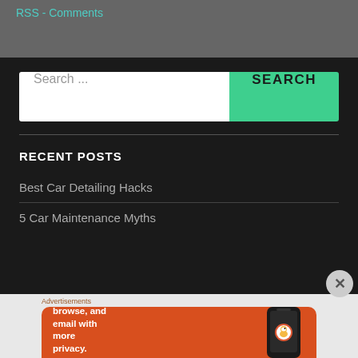RSS - Comments
[Figure (screenshot): Search bar with white input field showing 'Search ...' placeholder text and a green button labeled 'SEARCH']
RECENT POSTS
Best Car Detailing Hacks
5 Car Maintenance Myths
[Figure (infographic): DuckDuckGo advertisement banner on orange background: 'Search, browse, and email with more privacy. All in One Free App' with phone mockup showing DuckDuckGo logo]